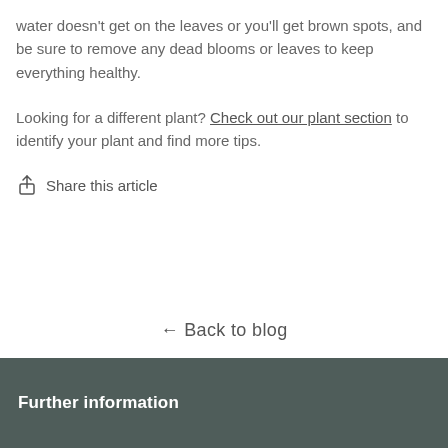water doesn't get on the leaves or you'll get brown spots, and be sure to remove any dead blooms or leaves to keep everything healthy.
Looking for a different plant? Check out our plant section to identify your plant and find more tips.
↑ Share this article
← Back to blog
Further information